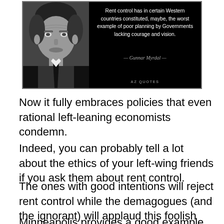[Figure (photo): A quote image with a black background. On the left is a black-and-white photograph of an older man in a suit. On the right is white text reading: 'Rent control has in certain Western countries constituted, maybe, the worst example of poor planning by Governments lacking courage and vision.' Attribution: — Gunnar Myrdal — Source: AZ QUOTES]
Now it fully embraces policies that even rational left-leaning economists condemn.
Indeed, you can probably tell a lot about the ethics of your left-wing friends if you ask them about rent control.
The ones with good intentions will reject rent control while the demagogues (and the ignorant) will applaud this foolish example of price controls.
Minneapolis provides a good example of ethical leftists, as